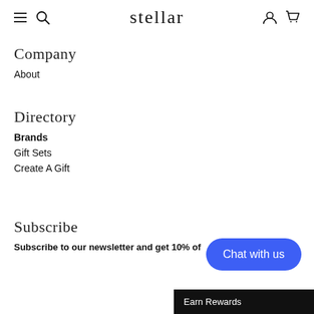stellar
Company
About
Directory
Brands
Gift Sets
Create A Gift
Subscribe
Subscribe to our newsletter and get 10% of
Chat with us
Earn Rewards